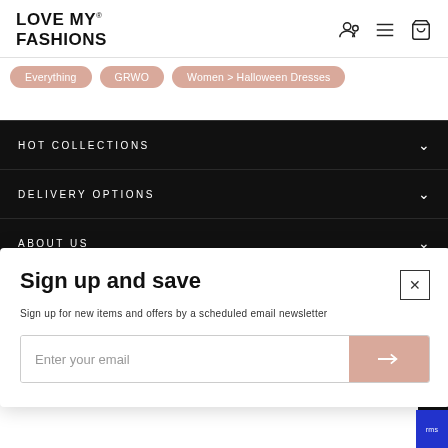LOVE MY® FASHIONS
Everything
GRWO
Women > Halloween Dresses
HOT COLLECTIONS
DELIVERY OPTIONS
ABOUT US
Sign up and save
Sign up for new items and offers by a scheduled email newsletter
Enter your email